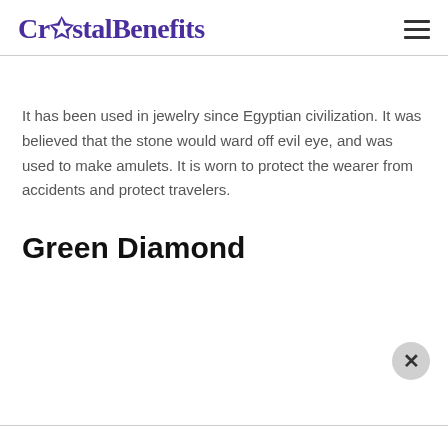CrystalBenefits
It has been used in jewelry since Egyptian civilization. It was believed that the stone would ward off evil eye, and was used to make amulets. It is worn to protect the wearer from accidents and protect travelers.
Green Diamond